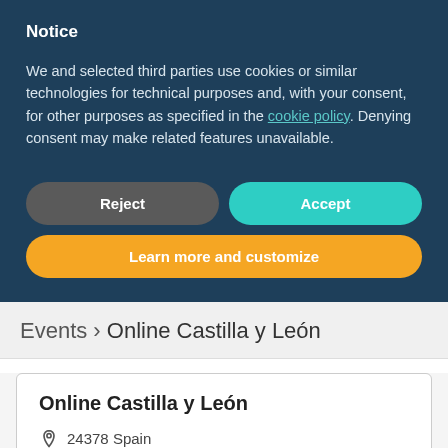Notice
We and selected third parties use cookies or similar technologies for technical purposes and, with your consent, for other purposes as specified in the cookie policy. Denying consent may make related features unavailable.
Reject
Accept
Learn more and customize
Events › Online Castilla y León
Online Castilla y León
24378 Spain